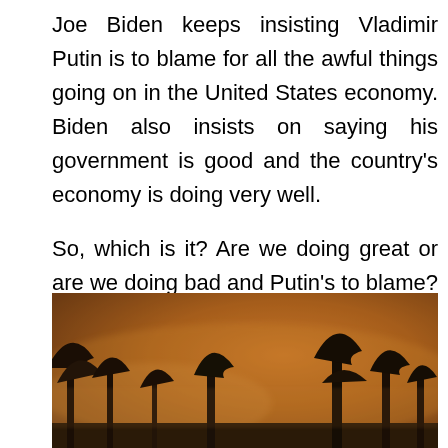Joe Biden keeps insisting Vladimir Putin is to blame for all the awful things going on in the United States economy. Biden also insists on saying his government is good and the country's economy is doing very well.
So, which is it? Are we doing great or are we doing bad and Putin's to blame? A bit of both? Did somebody say a double scoop of ice cream?
[Figure (photo): A hazy, smoke-filled outdoor scene with trees silhouetted against an orange-brown sky, suggesting wildfire smoke or heavy haze.]